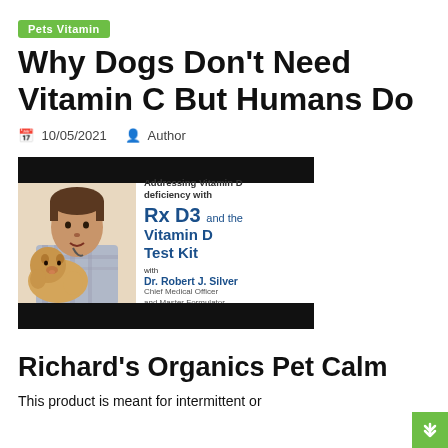Pets Vitamin
Why Dogs Don't Need Vitamin C But Humans Do
10/05/2021  Author
[Figure (photo): Promotional image for Rx D3 and the Vitamin D Test Kit featuring Dr. Robert J. Silver, Chief Medical Officer and Master Formulator, shown with a dog. Text reads: Addressing Vitamin D deficiency with Rx D3 and the Vitamin D Test Kit with Dr. Robert J. Silver Chief Medical Officer and Master Formulator.]
Richard's Organics Pet Calm
This product is meant for intermittent or